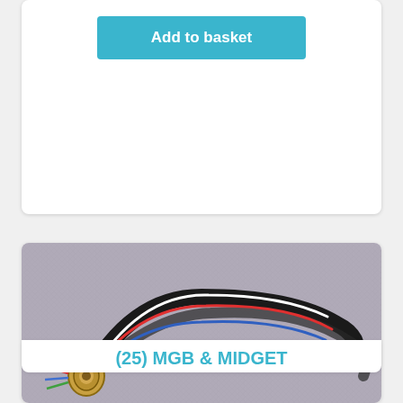Add to basket
[Figure (photo): Photo of an MGB & Midget wiring harness/loom with coloured wires (white, red, blue) and a brass connector, laid on a grey fabric background.]
(25) MGB & MIDGET